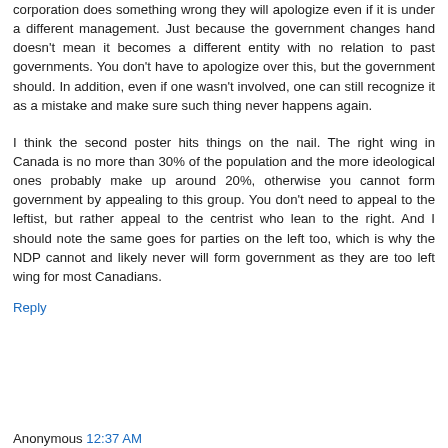corporation does something wrong they will apologize even if it is under a different management. Just because the government changes hand doesn't mean it becomes a different entity with no relation to past governments. You don't have to apologize over this, but the government should. In addition, even if one wasn't involved, one can still recognize it as a mistake and make sure such thing never happens again.
I think the second poster hits things on the nail. The right wing in Canada is no more than 30% of the population and the more ideological ones probably make up around 20%, otherwise you cannot form government by appealing to this group. You don't need to appeal to the leftist, but rather appeal to the centrist who lean to the right. And I should note the same goes for parties on the left too, which is why the NDP cannot and likely never will form government as they are too left wing for most Canadians.
Reply
Anonymous 12:37 AM